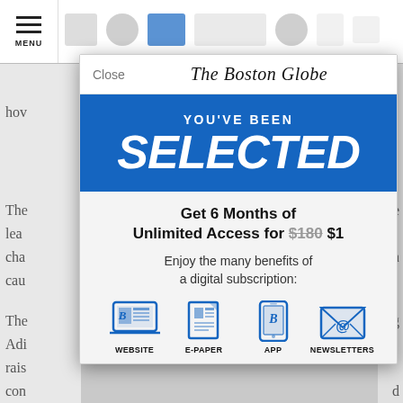[Figure (screenshot): Screenshot of The Boston Globe website with a modal subscription dialog. The modal shows 'YOU'VE BEEN SELECTED' in a blue banner, an offer for '6 Months of Unlimited Access for $180 $1', benefits text, and four icons: Website, E-Paper, App, Newsletters. Background shows a partially visible news article.]